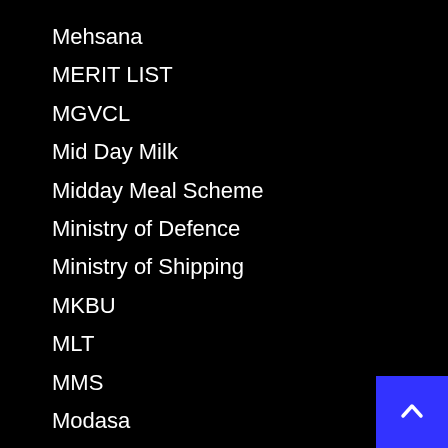Mehsana
MERIT LIST
MGVCL
Mid Day Milk
Midday Meal Scheme
Ministry of Defence
Ministry of Shipping
MKBU
MLT
MMS
Modasa
Morbi
MPHW
MRS
MSU